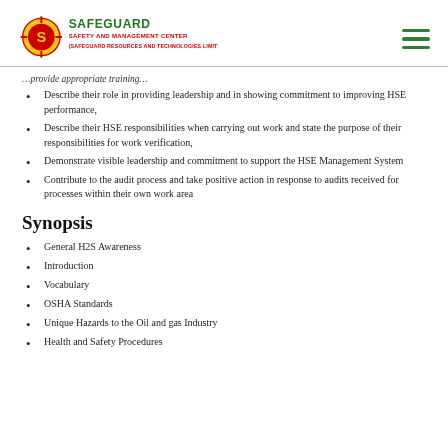SAFEGUARD SAFETY AND MANAGEMENT CENTER (SAFEGUARD RESOURCES AND TECHNOLOGIES LIMITED)
Describe their role in providing leadership and in showing commitment to improving HSE performance,
Describe their HSE responsibilities when carrying out work and state the purpose of their responsibilities for work verification,
Demonstrate visible leadership and commitment to support the HSE Management System
Contribute to the audit process and take positive action in response to audits received for processes within their own work area
Synopsis
General H2S Awareness
Introduction
Vocabulary
OSHA Standards
Unique Hazards to the Oil and gas Industry
Health and Safety Procedures